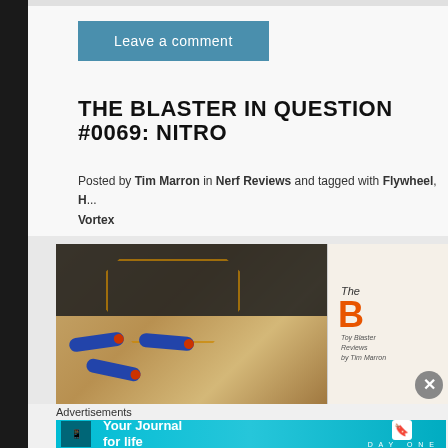Leave a comment
THE BLASTER IN QUESTION #0069: NITRO
Posted by Tim Marron in Nerf Reviews and tagged with Flywheel, H... Vortex
[Figure (photo): Photo of Nerf blaster darts on a surface with a blaster outline, alongside a book cover thumbnail showing 'The B...' with orange lettering, Toy Blaster Reviews by Tim Marron]
Advertisements
[Figure (screenshot): Advertisement banner for Day One app - 'Your Journal for life' with DAYONE logo on cyan/teal background]